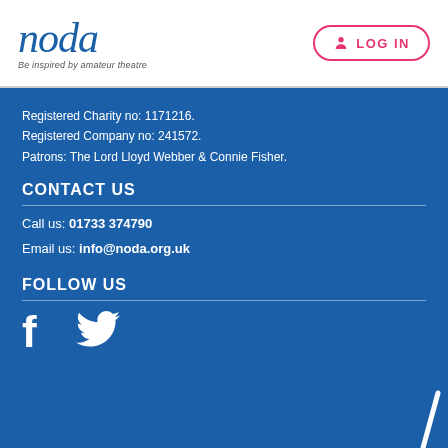[Figure (logo): NODA logo with italic text 'noda' in blue and tagline 'Be inspired by amateur theatre']
[Figure (other): LOG IN button with person icon, pink border and text]
Registered Charity no: 1171216.
Registered Company no: 241572.
Patrons: The Lord Lloyd Webber & Connie Fisher.
CONTACT US
Call us: 01733 374790
Email us: info@noda.org.uk
FOLLOW US
[Figure (other): Facebook and Twitter social media icons in white]